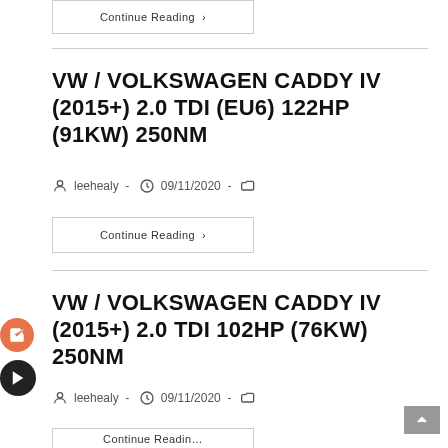Continue Reading ›
VW / VOLKSWAGEN CADDY IV (2015+) 2.0 TDI (EU6) 122HP (91KW) 250NM
leehealy - 09/11/2020 -
Continue Reading ›
VW / VOLKSWAGEN CADDY IV (2015+) 2.0 TDI 102HP (76KW) 250NM
leehealy - 09/11/2020 -
Continue Reading ›